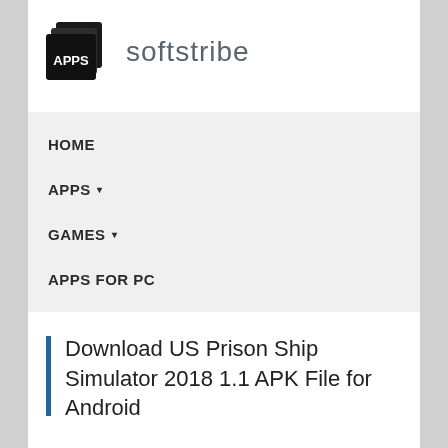[Figure (logo): Softstribe logo: stacked rectangles icon with APPS text and 'softstribe' wordmark]
HOME
APPS ▾
GAMES ▾
APPS FOR PC
Download US Prison Ship Simulator 2018 1.1 APK File for Android